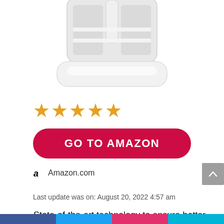[Figure (photo): Partial view of a white coffee maker on white background, showing the bottom half with glass carafe and base.]
[Figure (other): Five orange/gold star rating icons]
GO TO AMAZON
Amazon.com
Last update was on: August 20, 2022 4:57 am
State-of-the-art technology to ensure hotter
[Figure (other): Social sharing bar at bottom with colored segments (blue, dark blue, red/pink, cyan)]